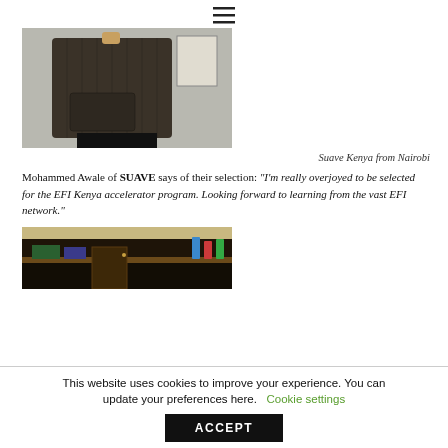☰
[Figure (photo): A dark corduroy backpack with brown leather handles photographed in an interior setting]
Suave Kenya from Nairobi
Mohammed Awale of SUAVE says of their selection: "I'm really overjoyed to be selected for the EFI Kenya accelerator program. Looking forward to learning from the vast EFI network."
[Figure (photo): A dark interior shop scene with wooden shelves and colorful products]
This website uses cookies to improve your experience. You can update your preferences here. Cookie settings ACCEPT